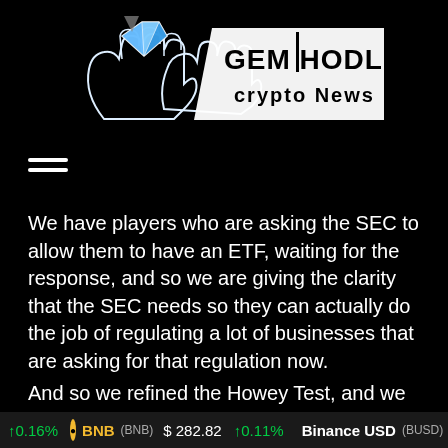[Figure (logo): Gem Hodlers Crypto News logo with hands holding a gem and trading chart icons]
[Figure (other): Hamburger menu icon (three horizontal lines)]
We have players who are asking the SEC to allow them to have an ETF, waiting for the response, and so we are giving the clarity that the SEC needs so they can actually do the job of regulating a lot of businesses that are asking for that regulation now.
And so we refined the Howey Test, and we really draw out exactly what's a security. If a token conveys with respect to issuing entity, voting rights, rights of interest, dividend payments or profits, debtor equity interest, liquidation rights,
↑0.16%   BNB (BNB)   $ 282.82   ↑0.11%   Binance USD (BUSD)